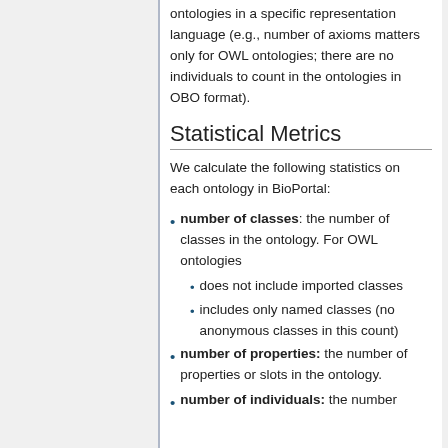ontologies in a specific representation language (e.g., number of axioms matters only for OWL ontologies; there are no individuals to count in the ontologies in OBO format).
Statistical Metrics
We calculate the following statistics on each ontology in BioPortal:
number of classes: the number of classes in the ontology. For OWL ontologies
does not include imported classes
includes only named classes (no anonymous classes in this count)
number of properties: the number of properties or slots in the ontology.
number of individuals: the number